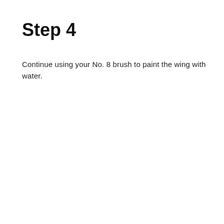Step 4
Continue using your No. 8 brush to paint the wing with water.